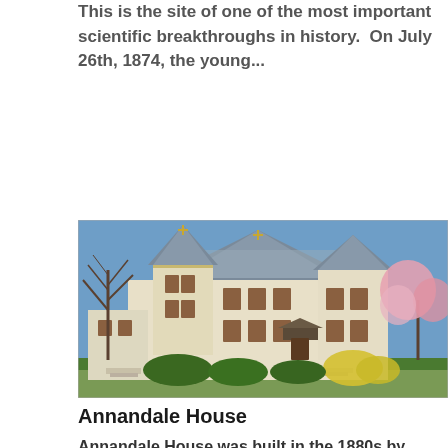This is the site of one of the most important scientific breakthroughs in history.  On July 26th, 1874, the young...
[Figure (photo): Photograph of Annandale House, a large Victorian-era mansion with Gothic Revival architectural details, cream-colored brick exterior, decorative gabled roofline, bay windows, and a covered front porch entry. Trees are visible on either side.]
Annandale House
Annandale House was built in the 1880s by Edwin